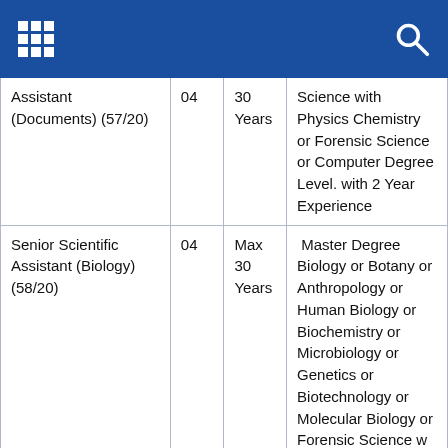| Position | Vacancies | Age | Qualification |
| --- | --- | --- | --- |
| Assistant (Documents) (57/20) | 04 | 30 Years | Science with Physics Chemistry or Forensic Science or Computer Degree Level. with 2 Year Experience |
| Senior Scientific Assistant (Biology) (58/20) | 04 | Max 30 Years | Master Degree Biology or Botany or Anthropology or Human Biology or Biochemistry or Microbiology or Genetics or Biotechnology or Molecular Biology or Forensic Science w Zoology or Botany or Forensic in Degree Level. And 2 Year |